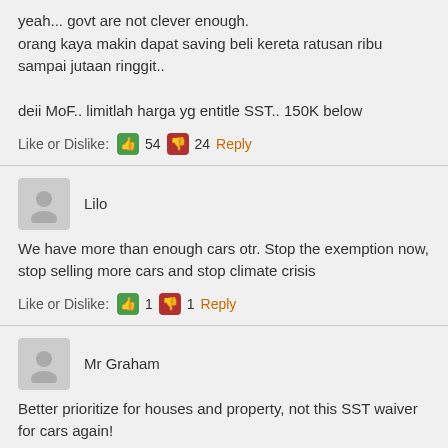yeah... govt are not clever enough.
orang kaya makin dapat saving beli kereta ratusan ribu sampai jutaan ringgit..

deii MoF.. limitlah harga yg entitle SST.. 150K below
Like or Dislike: 54 24 Reply
Lilo
We have more than enough cars otr. Stop the exemption now, stop selling more cars and stop climate crisis
Like or Dislike: 1 1 Reply
Mr Graham
Better prioritize for houses and property, not this SST waiver for cars again!